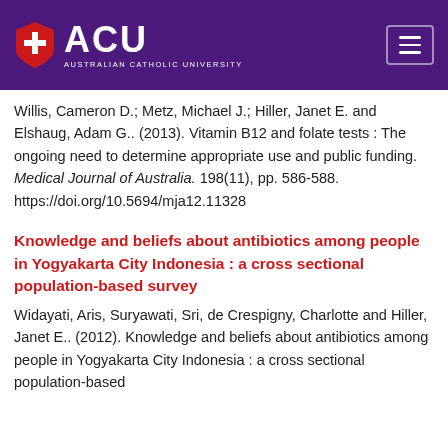[Figure (logo): ACU Australian Catholic University logo with shield icon on purple header background with hamburger menu icon]
Willis, Cameron D.; Metz, Michael J.; Hiller, Janet E. and Elshaug, Adam G.. (2013). Vitamin B12 and folate tests : The ongoing need to determine appropriate use and public funding. Medical Journal of Australia. 198(11), pp. 586-588. https://doi.org/10.5694/mja12.11328
Knowledge and beliefs about antibiotics among people in Yogyakarta City Indonesia : a cross sectional population-based survey
Widayati, Aris, Suryawati, Sri, de Crespigny, Charlotte and Hiller, Janet E.. (2012). Knowledge and beliefs about antibiotics among people in Yogyakarta City Indonesia : a cross sectional population-based